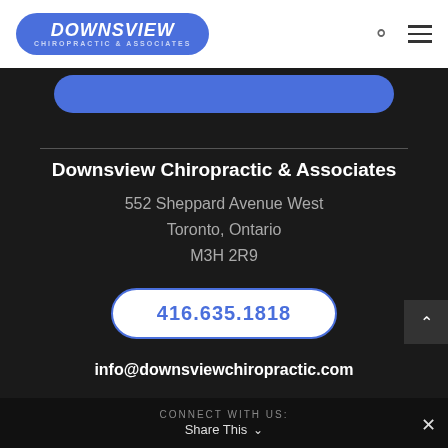DOWNSVIEW CHIROPRACTIC & ASSOCIATES
Downsview Chiropractic & Associates
552 Sheppard Avenue West
Toronto, Ontario
M3H 2R9
416.635.1818
info@downsviewchiropractic.com
CONNECT WITH US: Share This